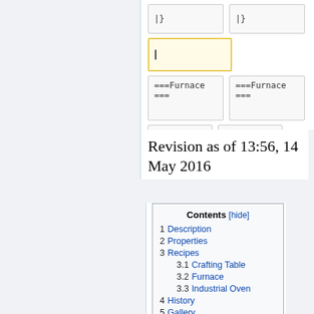[Figure (screenshot): Wikipedia article editor interface showing edit boxes with wiki markup including '|}' syntax and '===Furnace===' section headers, with a yellow-highlighted active input box]
Revision as of 13:56, 14 May 2016
| Contents [hide] |
| --- |
| 1  Description |
| 2  Properties |
| 3  Recipes |
| 3.1  Crafting Table |
| 3.2  Furnace |
| 3.3  Industrial Oven |
| 4  History |
| 5  Gallery |